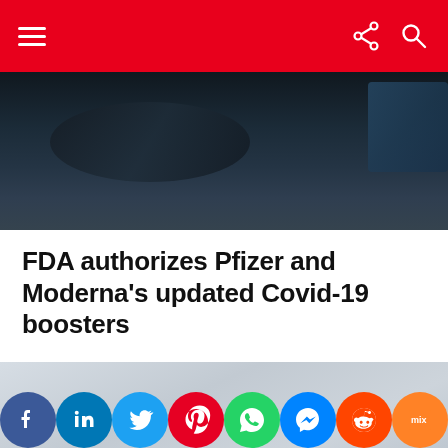Navigation header with hamburger menu, share icon, and search icon on red background
[Figure (photo): Dark background photo, appears to show a car interior or medical/tech equipment in low light]
FDA authorizes Pfizer and Moderna's updated Covid-19 boosters
[Figure (photo): Light gray/blue toned photo, partially visible, appears to show people or a medical scene]
Social share icons: Facebook, LinkedIn, Twitter, Pinterest, WhatsApp, Messenger, Reddit, Mix, MW, Share